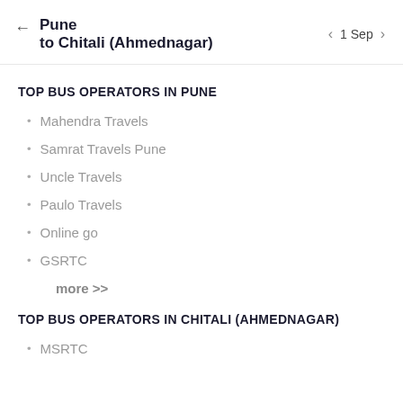← Pune to Chitali (Ahmednagar)   < 1 Sep >
TOP BUS OPERATORS IN PUNE
Mahendra Travels
Samrat Travels Pune
Uncle Travels
Paulo Travels
Online go
GSRTC
more >>
TOP BUS OPERATORS IN CHITALI (AHMEDNAGAR)
MSRTC